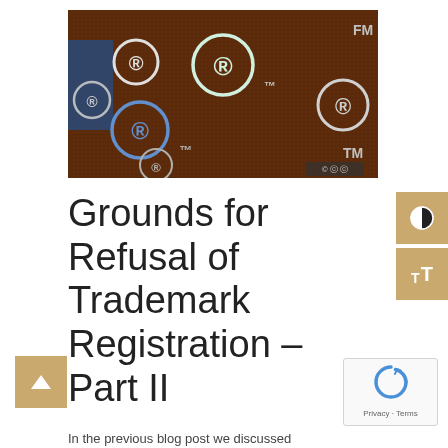[Figure (photo): Dark brown background with multiple registered trademark (R) symbols and trademark (TM) symbols scattered across the image, rendered in a dotted/halftone style. A creative commons license badge appears in the bottom-right corner.]
Grounds for Refusal of Trademark Registration – Part II
In the previous blog post we discussed